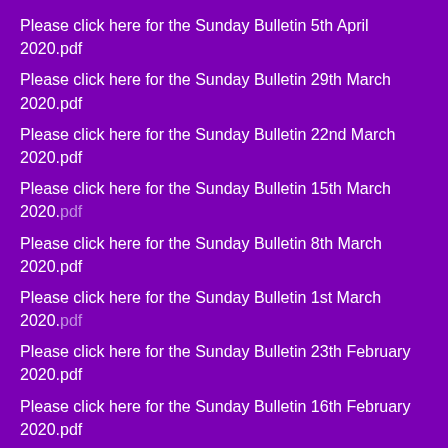Please click here for the Sunday Bulletin 5th April 2020.pdf
Please click here for the Sunday Bulletin 29th March 2020.pdf
Please click here for the Sunday Bulletin 22nd March 2020.pdf
Please click here for the Sunday Bulletin 15th March 2020.pdf
Please click here for the Sunday Bulletin 8th March 2020.pdf
Please click here for the Sunday Bulletin 1st March 2020.pdf
Please click here for the Sunday Bulletin 23th February 2020.pdf
Please click here for the Sunday Bulletin 16th February 2020.pdf
Please click here for the Sunday Bulletin 9th February 2020.pdf
Please click here for the Sunday Bulletin 2nd February 2020.pdf
Please click here for the Sunday Bulletin 26th January 2020.pdf
Please click here for the Sunday Bulletin 19th January 2020.pdf
Please click here for the Sunday Bulletin 12th January 2020.pdf